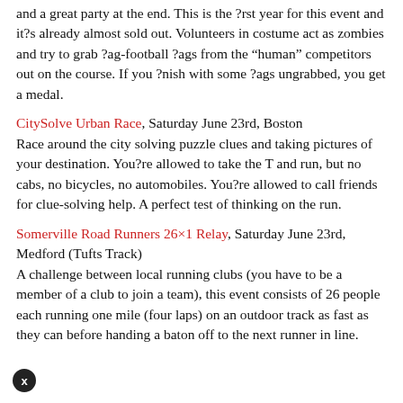and a great party at the end. This is the ?rst year for this event and it?s already almost sold out. Volunteers in costume act as zombies and try to grab ?ag-football ?ags from the “human” competitors out on the course. If you ?nish with some ?ags ungrabbed, you get a medal.
CitySolve Urban Race, Saturday June 23rd, Boston
Race around the city solving puzzle clues and taking pictures of your destination. You?re allowed to take the T and run, but no cabs, no bicycles, no automobiles. You?re allowed to call friends for clue-solving help. A perfect test of thinking on the run.
Somerville Road Runners 26×1 Relay, Saturday June 23rd, Medford (Tufts Track)
A challenge between local running clubs (you have to be a member of a club to join a team), this event consists of 26 people each running one mile (four laps) on an outdoor track as fast as they can before handing a baton off to the next runner in line.